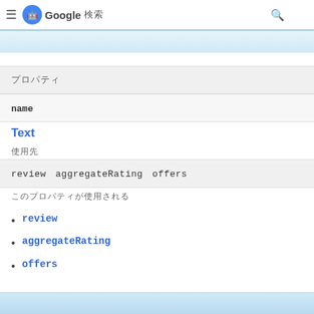Google 検索
プロパティ
name
Text
使用先
review　aggregateRating　offers
このプロパティが使用される
review
aggregateRating
offers